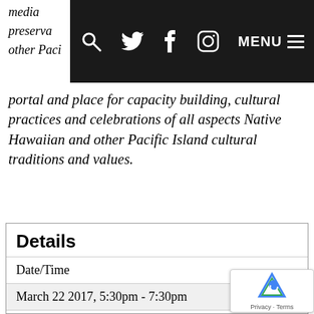media preserva other Paci
[Figure (screenshot): Dark navigation bar with search icon, Twitter bird icon, Facebook f icon, Instagram camera icon, MENU label with hamburger lines]
portal and place for capacity building, cultural practices and celebrations of all aspects Native Hawaiian and other Pacific Island cultural traditions and values.
Details
| Date/Time |
| March 22 2017, 5:30pm - 7:30pm |
| Admission |
| $10 for Chamber members; $15 for non-members |